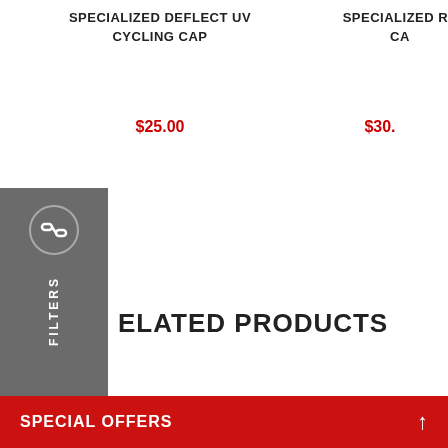SPECIALIZED DEFLECT UV CYCLING CAP
$25.00
SPECIALIZED RE... CA...
$30...
[Figure (other): Filters sidebar with link icon and vertical FILTERS text on grey background]
ELATED PRODUCTS
[Figure (photo): Black cycling cap on mannequin head, viewed from the side]
SPECIAL OFFERS